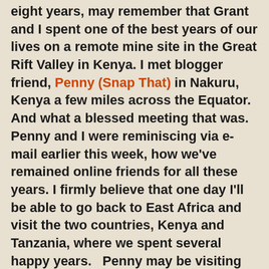eight years, may remember that Grant and I spent one of the best years of our lives on a remote mine site in the Great Rift Valley in Kenya. I met blogger friend, Penny (Snap That) in Nakuru, Kenya a few miles across the Equator. And what a blessed meeting that was. Penny and I were reminiscing via e-mail earlier this week, how we've remained online friends for all these years. I firmly believe that one day I'll be able to go back to East Africa and visit the two countries, Kenya and Tanzania, where we spent several happy years.   Penny may be visiting there the same time; in fact I'll make sure I go over when she is there! Imagine that!
At home I started on the book, struggling quite a bit in the beginning because the print seems small and quite dull, being on paper and not on a screen as I'm used to reading. But I soon got into